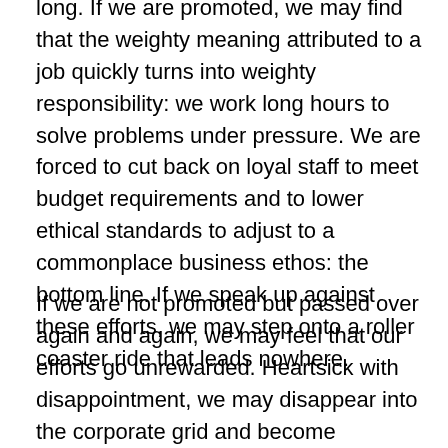long. If we are promoted, we may find that the weighty meaning attributed to a job quickly turns into weighty responsibility: we work long hours to solve problems under pressure. We are forced to cut back on loyal staff to meet budget requirements and to lower ethical standards to adjust to a commonplace business ethos: the bottom line. If we speak up against these efforts, we may step onto a roller coaster ride that leads nowhere.
If we are not promoted but passed over again and again, we may feel that our efforts go unrewarded. Heartsick with disappointment, we may disappear into the corporate grid and become depressed, resigned, or bitter. If we are fired, offered up as a sacrifice during downsizing or forced to retire early to bring in young blood, we discover that we are inessential and feel abandoned. And, because our loyalty was unrequited, we feel betrayed.